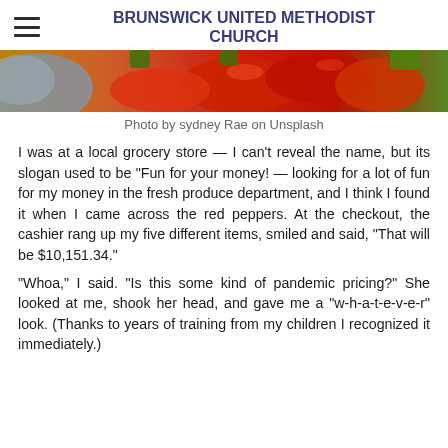BRUNSWICK UNITED METHODIST CHURCH
[Figure (photo): Close-up photo of fresh vegetables including red peppers and other produce]
Photo by sydney Rae on Unsplash
I was at a local grocery store — I can't reveal the name, but its slogan used to be "Fun for your money! — looking for a lot of fun for my money in the fresh produce department, and I think I found it when I came across the red peppers. At the checkout, the cashier rang up my five different items, smiled and said, "That will be $10,151.34."
"Whoa," I said. "Is this some kind of pandemic pricing?" She looked at me, shook her head, and gave me a "w-h-a-t-e-v-e-r" look. (Thanks to years of training from my children I recognized it immediately.)